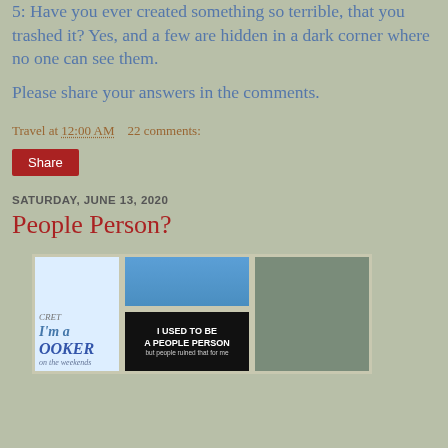5: Have you ever created something so terrible, that you trashed it? Yes, and a few are hidden in a dark corner where no one can see them.
Please share your answers in the comments.
Travel at 12:00 AM   22 comments:
Share
SATURDAY, JUNE 13, 2020
People Person?
[Figure (photo): Collage of three photos: left panel showing text 'I'm a BOOKER on the weekends', center top panel with blue sky photo, center bottom panel with black background text 'I USED TO BE A PEOPLE PERSON but people ruined that for me', right panel showing an outdoor scene.]